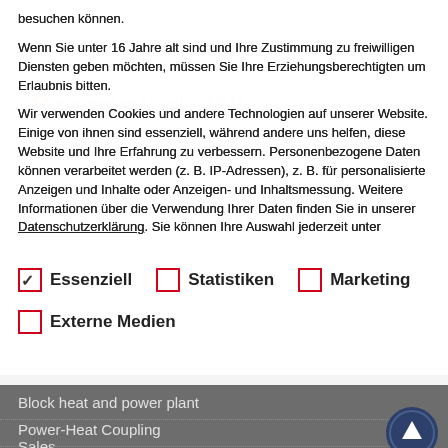besuchen können.
Wenn Sie unter 16 Jahre alt sind und Ihre Zustimmung zu freiwilligen Diensten geben möchten, müssen Sie Ihre Erziehungsberechtigten um Erlaubnis bitten.
Wir verwenden Cookies und andere Technologien auf unserer Website. Einige von ihnen sind essenziell, während andere uns helfen, diese Website und Ihre Erfahrung zu verbessern. Personenbezogene Daten können verarbeitet werden (z. B. IP-Adressen), z. B. für personalisierte Anzeigen und Inhalte oder Anzeigen- und Inhaltsmessung. Weitere Informationen über die Verwendung Ihrer Daten finden Sie in unserer Datenschutzerklärung. Sie können Ihre Auswahl jederzeit unter
✓ Essenziell  ☐ Statistiken  ☐ Marketing
☐ Externe Medien
Block heat and power plant
Power-Heat Coupling
Sales
News